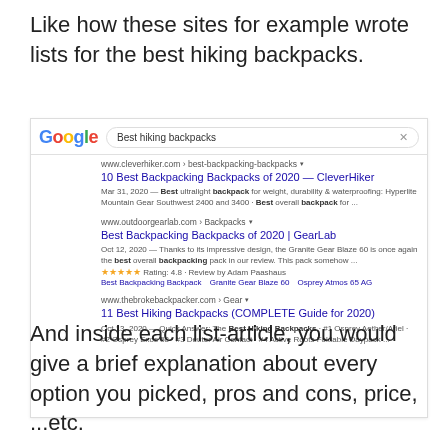Like how these sites for example wrote lists for the best hiking backpacks.
[Figure (screenshot): Google search results screenshot for 'Best hiking backpacks' showing three results: '10 Best Backpacking Backpacks of 2020 — CleverHiker', 'Best Backpacking Backpacks of 2020 | GearLab', and '11 Best Hiking Backpacks (COMPLETE Guide for 2020)']
And inside each list-article, you would give a brief explanation about every option you picked, pros and cons, price, ...etc.